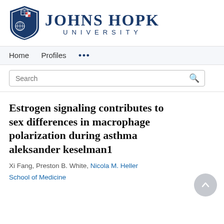[Figure (logo): Johns Hopkins University shield logo and wordmark in dark navy blue]
Home   Profiles   ...
Search
Estrogen signaling contributes to sex differences in macrophage polarization during asthma aleksander keselman1
Xi Fang, Preston B. White, Nicola M. Heller
School of Medicine